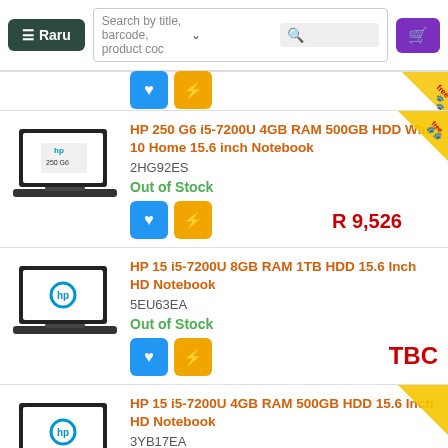Raru – Search by title, barcode, product code
[Figure (screenshot): Partial product row with wishlist and bolt buttons at top]
HP 250 G6 i5-7200U 4GB RAM 500GB HDD Win 10 Home 15.6 inch Notebook
2HG92ES
Out of Stock
R 9,526
HP 15 i5-7200U 8GB RAM 1TB HDD 15.6 Inch HD Notebook
5EU63EA
Out of Stock
TBC
HP 15 i5-7200U 4GB RAM 500GB HDD 15.6 Inch HD Notebook
3YB17EA
Out of Stock
R 7,976